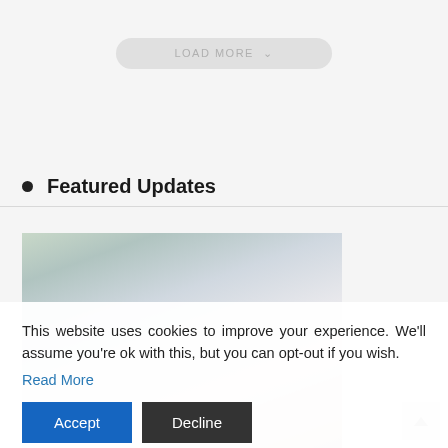[Figure (other): LOAD MORE button with dropdown chevron, rounded pill shape, light gray background]
Featured Updates
[Figure (photo): Photo of a person in gray clothing at a desk, with blurred foreground showing a small house model, plants visible on the left]
This website uses cookies to improve your experience. We'll assume you're ok with this, but you can opt-out if you wish.
Read More
Accept
Decline